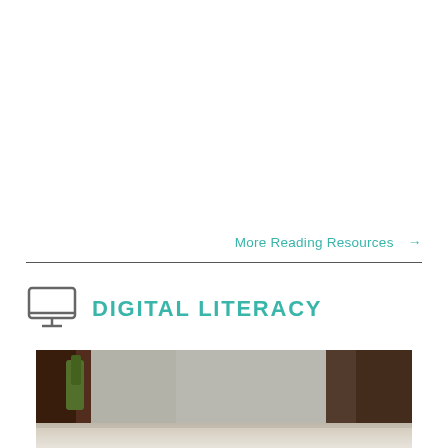More Reading Resources →
DIGITAL LITERACY
[Figure (photo): Photo of a tablet or digital device on a desk, partially cropped, showing a blurred background with plants and furniture]